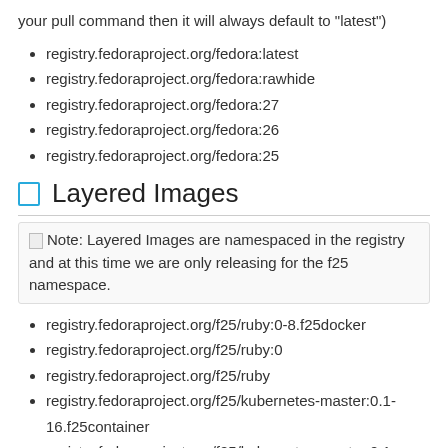your pull command then it will always default to "latest")
registry.fedoraproject.org/fedora:latest
registry.fedoraproject.org/fedora:rawhide
registry.fedoraproject.org/fedora:27
registry.fedoraproject.org/fedora:26
registry.fedoraproject.org/fedora:25
Layered Images
Note: Layered Images are namespaced in the registry and at this time we are only releasing for the f25 namespace.
registry.fedoraproject.org/f25/ruby:0-8.f25docker
registry.fedoraproject.org/f25/ruby:0
registry.fedoraproject.org/f25/ruby
registry.fedoraproject.org/f25/kubernetes-master:0.1-16.f25container
registry.fedoraproject.org/f25/kubernetes-master:0.1
registry.fedoraproject.org/f25/kubernetes-master
registry.fedoraproject.org/f25/kubernetes-kubelet:0-